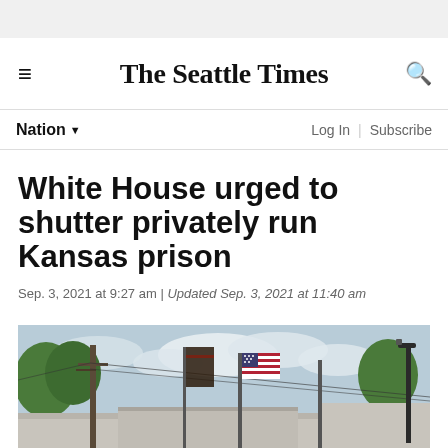The Seattle Times
Nation
Log In | Subscribe
White House urged to shutter privately run Kansas prison
Sep. 3, 2021 at 9:27 am | Updated Sep. 3, 2021 at 11:40 am
[Figure (photo): Exterior photo of a privately run Kansas prison facility with flags, fencing with barbed wire, utility poles, and trees visible against a partly cloudy sky.]